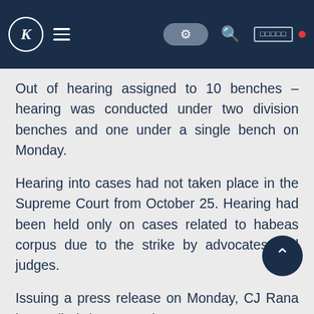K [hamburger menu] [toggle] [search] [language selector] [red dot]
Out of hearing assigned to 10 benches – hearing was conducted under two division benches and one under a single bench on Monday.
Hearing into cases had not taken place in the Supreme Court from October 25. Hearing had been held only on cases related to habeas corpus due to the strike by advocates and judges.
Issuing a press release on Monday, CJ Rana has called the protesting Supreme Court Bar Association to sit for a dialogue in order to resolve the existing problems facing the